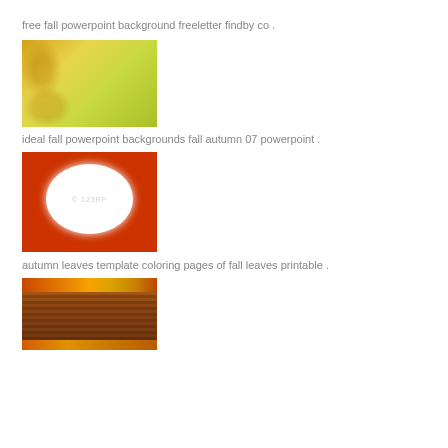free fall powerpoint background freeletter findby co .
[Figure (photo): Yellow-green blurred autumn background with maple leaves on the left side]
ideal fall powerpoint backgrounds fall autumn 07 powerpoint .
[Figure (photo): Red and orange autumn maple leaves forming a border around a white oval center, with 123RF watermark]
autumn leaves template coloring pages of fall leaves printable .
[Figure (photo): Wooden planks background bordered by colorful autumn/fall leaves in orange, red and yellow]